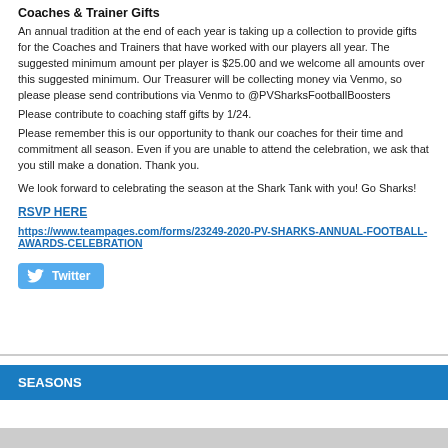Coaches & Trainer Gifts
An annual tradition at the end of each year is taking up a collection to provide gifts for the Coaches and Trainers that have worked with our players all year. The suggested minimum amount per player is $25.00 and we welcome all amounts over this suggested minimum. Our Treasurer will be collecting money via Venmo, so please please send contributions via Venmo to @PVSharksFootballBoosters
Please contribute to coaching staff gifts by 1/24.
Please remember this is our opportunity to thank our coaches for their time and commitment all season. Even if you are unable to attend the celebration, we ask that you still make a donation. Thank you.
We look forward to celebrating the season at the Shark Tank with you! Go Sharks!
RSVP HERE
https://www.teampages.com/forms/23249-2020-PV-SHARKS-ANNUAL-FOOTBALL-AWARDS-CELEBRATION
[Figure (logo): Twitter button/badge with bird icon and Twitter text on blue background]
SEASONS